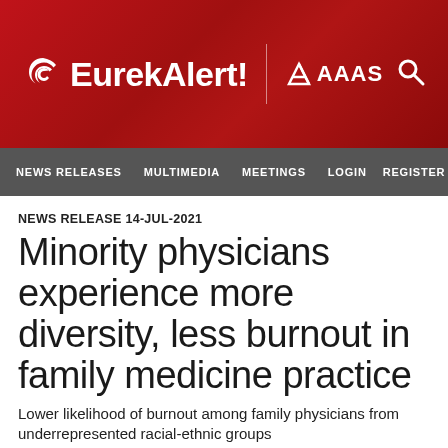[Figure (logo): EurekAlert! logo with AAAS branding on red background header banner]
NEWS RELEASES   MULTIMEDIA   MEETINGS   LOGIN   REGISTER
NEWS RELEASE 14-JUL-2021
Minority physicians experience more diversity, less burnout in family medicine practice
Lower likelihood of burnout among family physicians from underrepresented racial-ethnic groups
Peer-Reviewed Publication